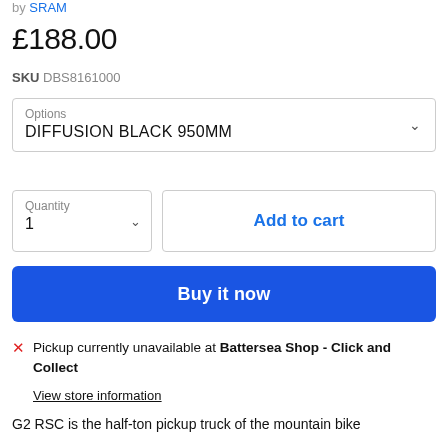by SRAM
£188.00
SKU DBS8161000
Options
DIFFUSION BLACK 950MM
Quantity
1
Add to cart
Buy it now
Pickup currently unavailable at Battersea Shop - Click and Collect
View store information
G2 RSC is the half-ton pickup truck of the mountain bike